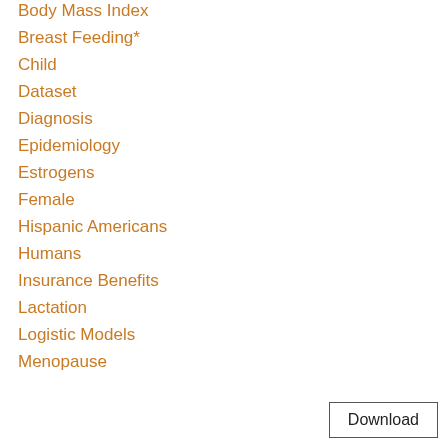Body Mass Index
Breast Feeding*
Child
Dataset
Diagnosis
Epidemiology
Estrogens
Female
Hispanic Americans
Humans
Insurance Benefits
Lactation
Logistic Models
Menopause
Mothers
Download